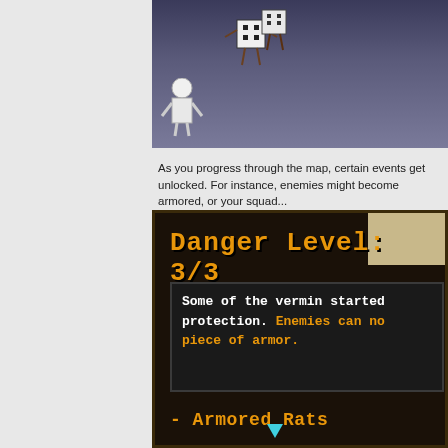[Figure (screenshot): Top portion of a game screenshot showing pixel-art characters including dice-like enemies on a dark purple/blue background with a white character figure in the lower left.]
As you progress through the map, certain events get unlocked. For instance, enemies might become armored, or your squad...
[Figure (screenshot): Game UI screenshot showing a dark interface with orange pixel font text reading 'Danger Level: 3/3', a description box with white and orange text about armored vermin, and 'Armored Rats' label at the bottom with a cyan cursor arrow.]